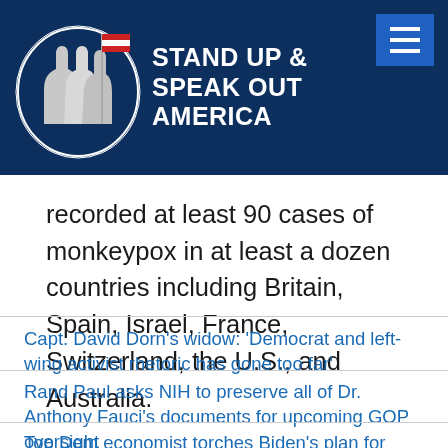[Figure (logo): Stand Up & Speak Out America website header with logo (patriot figure with flag) and hamburger menu button on dark navy background]
recorded at least 90 cases of monkeypox in at least a dozen countries including Britain, Spain, Israel, France, Switzerland, the U.S., and Australia.
Capt. David Dorn's widow: 'Democrat and left-wing activist rhetoric has gone too far'
Rand Paul asks NIH to preserve all of Dr. Anthony Fauci's documents for upcoming GOP oversight
Top Dem economist torches Biden's plan for sweeping student loan debt forgiveness: 'Increases